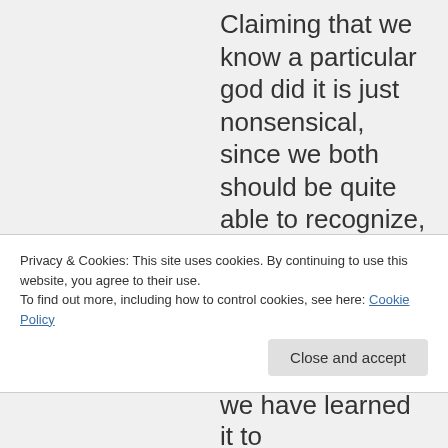Claiming that we know a particular god did it is just nonsensical, since we both should be quite able to recognize, that even if it was true, we would have no way to investigate wether this was so. Or would
Privacy & Cookies: This site uses cookies. By continuing to use this website, you agree to their use.
To find out more, including how to control cookies, see here: Cookie Policy
we have learned it to